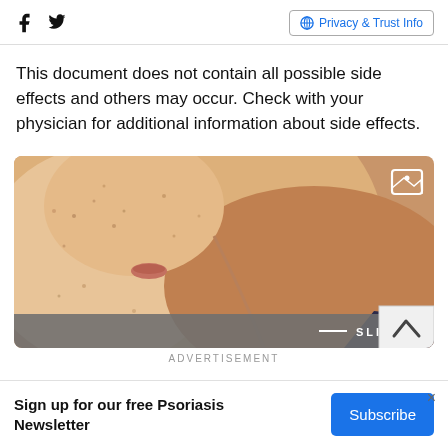Social icons and Privacy & Trust Info
This document does not contain all possible side effects and others may occur. Check with your physician for additional information about side effects.
[Figure (photo): Close-up photograph of skin showing neck and chin area with freckles and skin texture]
SLIDESHOW
ADVERTISEMENT
Sign up for our free Psoriasis Newsletter